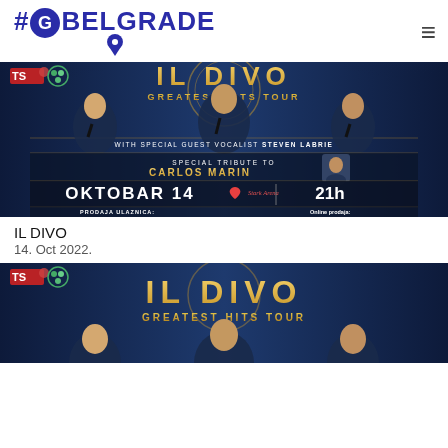#GoBelgrade
[Figure (photo): IL DIVO Greatest Hits Tour concert promotional banner with three male singers in dark suits performing on stage, with text: WITH SPECIAL GUEST VOCALIST STEVEN LABRIE, SPECIAL TRIBUTE TO CARLOS MARIN, OKTOBAR 14, Stark Arena, 21h, PRODAJA ULAZNICA, Online prodaja: efinity.rs]
IL DIVO
14. Oct 2022.
[Figure (photo): IL DIVO Greatest Hits Tour second concert promotional banner, partial view showing three performers on stage with gold text logo]